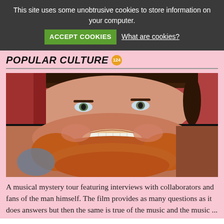This site uses some unobtrusive cookies to store information on your computer.
ACCEPT COOKIES  What are cookies?
POPULAR CULTURE 124
[Figure (photo): Composite/morphed image of two different faces merged together — top half shows a young person with brown hair, bottom half shows a person with red beard and big smile]
A musical mystery tour featuring interviews with collaborators and fans of the man himself. The film provides as many questions as it does answers but then the same is true of the music and the music ...